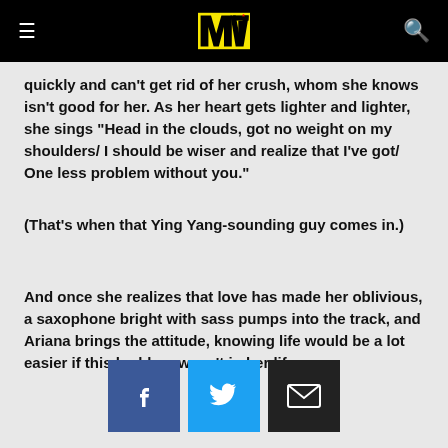MTV (logo navigation bar)
quickly and can't get rid of her crush, whom she knows isn't good for her. As her heart gets lighter and lighter, she sings "Head in the clouds, got no weight on my shoulders/ I should be wiser and realize that I've got/ One less problem without you."
(That's when that Ying Yang-sounding guy comes in.)
And once she realizes that love has made her oblivious, a saxophone bright with sass pumps into the track, and Ariana brings the attitude, knowing life would be a lot easier if this bad-boy wasn't in her life.
[Figure (infographic): Social share buttons: Facebook (blue), Twitter (light blue), Email (dark/black)]